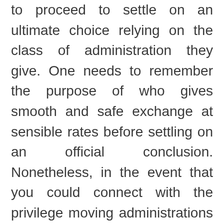to proceed to settle on an ultimate choice relying on the class of administration they give. One needs to remember the purpose of who gives smooth and safe exchange at sensible rates before settling on an official conclusion. Nonetheless, in the event that you could connect with the privilege moving administrations supplier who has the basic experience and the capacity to take on such an undertaking effectively, a lot of your concerns would vanish immediately.

In any case, to make the most from the administrations of any significant distance